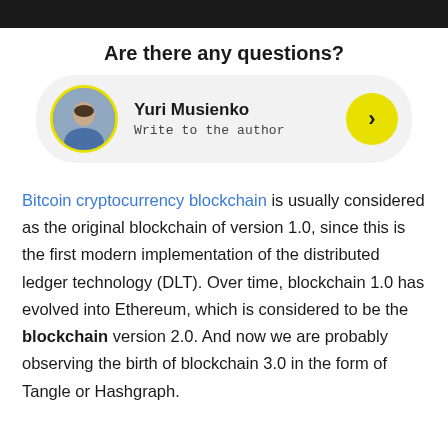Are there any questions?
[Figure (other): Author card with photo of Yuri Musienko, name, subtitle 'Write to the author', and yellow arrow button]
Bitcoin cryptocurrency blockchain is usually considered as the original blockchain of version 1.0, since this is the first modern implementation of the distributed ledger technology (DLT). Over time, blockchain 1.0 has evolved into Ethereum, which is considered to be the blockchain version 2.0. And now we are probably observing the birth of blockchain 3.0 in the form of Tangle or Hashgraph.